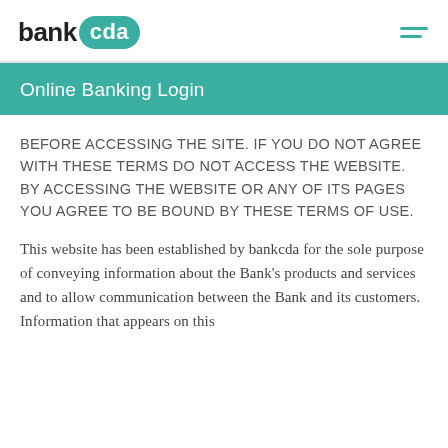bank cda
Online Banking Login
BEFORE ACCESSING THE SITE. IF YOU DO NOT AGREE WITH THESE TERMS DO NOT ACCESS THE WEBSITE. BY ACCESSING THE WEBSITE OR ANY OF ITS PAGES YOU AGREE TO BE BOUND BY THESE TERMS OF USE.
This website has been established by bankcda for the sole purpose of conveying information about the Bank's products and services and to allow communication between the Bank and its customers. Information that appears on this